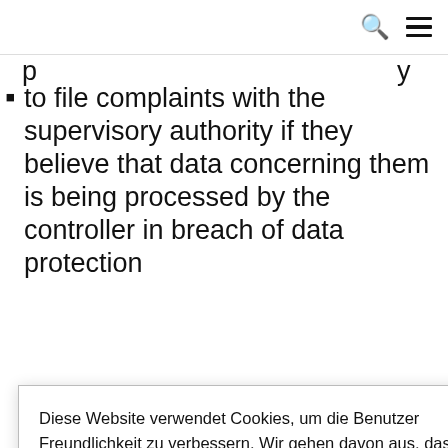to file complaints with the supervisory authority if they believe that data concerning them is being processed by the controller in breach of data protection
R). iged to discloses letions, or g the same R. However, such olves a
Diese Website verwendet Cookies, um die Benutzer Freundlichkeit zu verbessern. Wir gehen davon aus, dass du damit einverstanden bist, aber du kannst es auch ablehnen, wenn du möchtest. Settings
disproportionate effort. Nevertheless, users